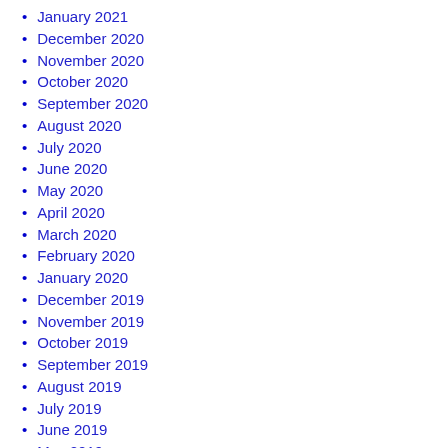January 2021
December 2020
November 2020
October 2020
September 2020
August 2020
July 2020
June 2020
May 2020
April 2020
March 2020
February 2020
January 2020
December 2019
November 2019
October 2019
September 2019
August 2019
July 2019
June 2019
May 2019
April 2019